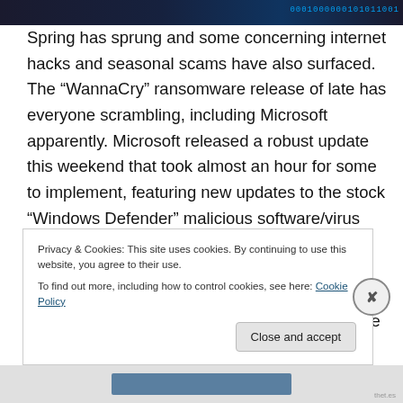[Figure (photo): Dark blue/black header image with binary code text overlay reading binary digits]
Spring has sprung and some concerning internet hacks and seasonal scams have also surfaced. The “WannaCry” ransomware release of late has everyone scrambling, including Microsoft apparently. Microsoft released a robust update this weekend that took almost an hour for some to implement, featuring new updates to the stock “Windows Defender” malicious software/virus protection.

What some do not realize is that with the changing of the seasons, there are also a whole new set of hacks and scams tagging along for “fun”. Consumer Action does a
Privacy & Cookies: This site uses cookies. By continuing to use this website, you agree to their use.
To find out more, including how to control cookies, see here: Cookie Policy
Close and accept